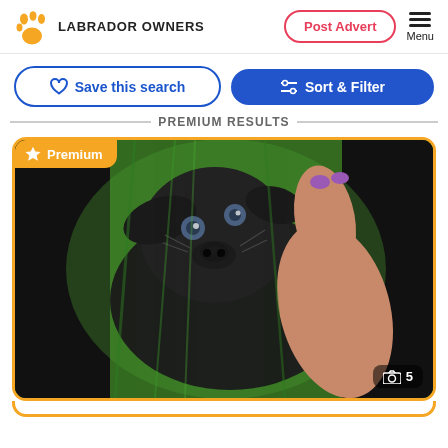LABRADOR OWNERS
Post Advert
Menu
Save this search
Sort & Filter
PREMIUM RESULTS
[Figure (photo): Black Labrador puppy lying on its back in green grass, being held by a hand with purple nail polish. Premium listing badge visible in top-left corner. Photo count badge showing camera icon and '5' in bottom-right corner.]